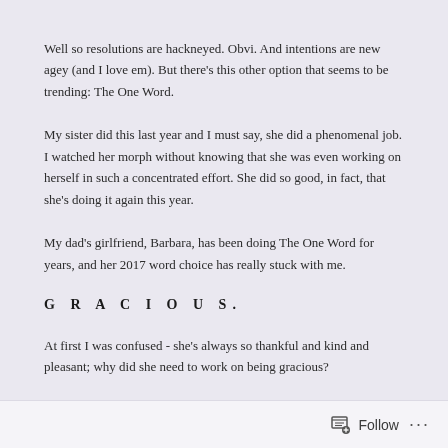Well so resolutions are hackneyed. Obvi. And intentions are new agey (and I love em). But there's this other option that seems to be trending: The One Word.
My sister did this last year and I must say, she did a phenomenal job. I watched her morph without knowing that she was even working on herself in such a concentrated effort. She did so good, in fact, that she's doing it again this year.
My dad's girlfriend, Barbara, has been doing The One Word for years, and her 2017 word choice has really stuck with me.
G R A C I O U S.
At first I was confused - she's always so thankful and kind and pleasant; why did she need to work on being gracious?
Follow